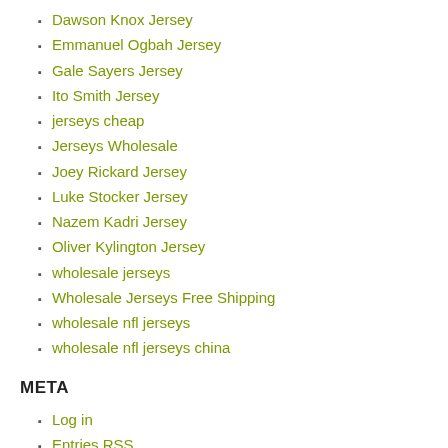Dawson Knox Jersey
Emmanuel Ogbah Jersey
Gale Sayers Jersey
Ito Smith Jersey
jerseys cheap
Jerseys Wholesale
Joey Rickard Jersey
Luke Stocker Jersey
Nazem Kadri Jersey
Oliver Kylington Jersey
wholesale jerseys
Wholesale Jerseys Free Shipping
wholesale nfl jerseys
wholesale nfl jerseys china
META
Log in
Entries RSS
Comments RSS